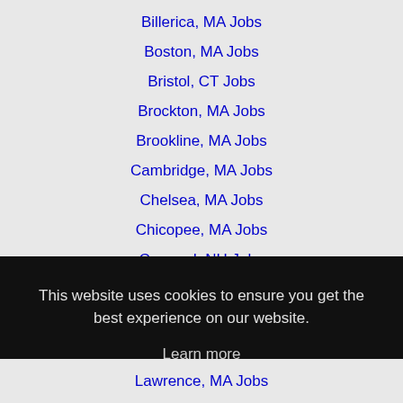Billerica, MA Jobs
Boston, MA Jobs
Bristol, CT Jobs
Brockton, MA Jobs
Brookline, MA Jobs
Cambridge, MA Jobs
Chelsea, MA Jobs
Chicopee, MA Jobs
Concord, NH Jobs
This website uses cookies to ensure you get the best experience on our website.
Learn more
Got it!
Lawrence, MA Jobs